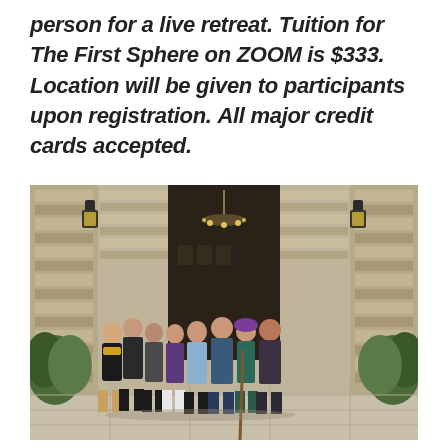person for a live retreat. Tuition for The First Sphere on ZOOM is $333. Location will be given to participants upon registration. All major credit cards accepted.
[Figure (photo): Group photo of approximately 9 people standing in front of a stone-facade building entrance with an open wooden door and chandelier visible inside. The group is posed on a stone patio flanked by bushes and stone columns with wall lanterns.]